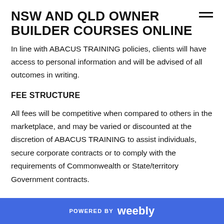NSW AND QLD OWNER BUILDER COURSES ONLINE
In line with ABACUS TRAINING policies, clients will have access to personal information and will be advised of all outcomes in writing.
FEE STRUCTURE
All fees will be competitive when compared to others in the marketplace, and may be varied or discounted at the discretion of ABACUS TRAINING to assist individuals, secure corporate contracts or to comply with the requirements of Commonwealth or State/territory Government contracts.
POWERED BY weebly